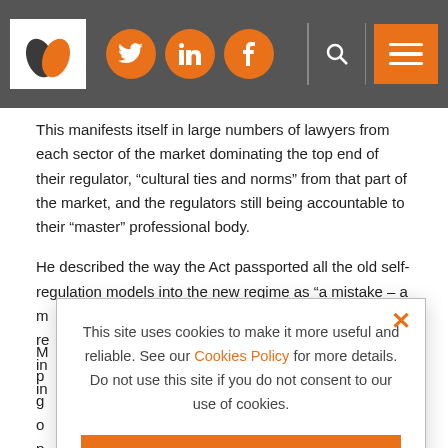Website header with logo, social icons (Twitter, LinkedIn, Facebook), search and menu
This manifests itself in large numbers of lawyers from each sector of the market dominating the top end of their regulator, “cultural ties and norms” from that part of the market, and the regulators still being accountable to their “master” professional body.
He described the way the Act passported all the old self-regulation models into the new regime as “a mistake – a m... re... in... in...
M... p... g... o... p... as...
[Figure (screenshot): Cookie consent popup overlay: 'This site uses cookies to make it more useful and reliable. See our Cookies Policy for more details. Do not use this site if you do not consent to our use of cookies.' with 'I CONSENT' and 'SEE COOKIE POLICY' buttons, and an orange X close button.]